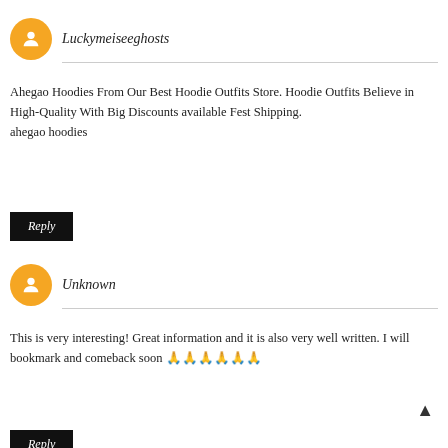Luckymeiseeghosts
Ahegao Hoodies From Our Best Hoodie Outfits Store. Hoodie Outfits Believe in High-Quality With Big Discounts available Fest Shipping.
ahegao hoodies
Reply
Unknown
This is very interesting! Great information and it is also very well written. I will bookmark and comeback soon 🙏🙏🙏🙏🙏🙏